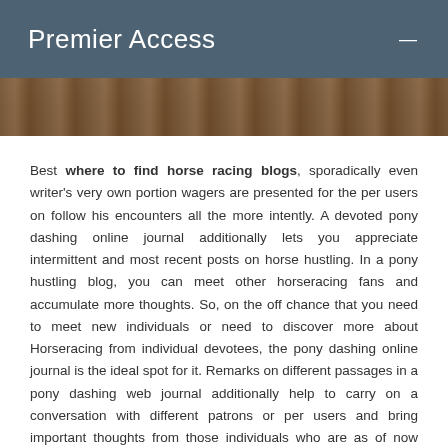Premier Access
[Figure (photo): A partial image strip showing a wooden or rustic background, likely a horse racing related photograph cropped at the top.]
Best where to find horse racing blogs, sporadically even writer's very own portion wagers are presented for the per users on follow his encounters all the more intently. A devoted pony dashing online journal additionally lets you appreciate intermittent and most recent posts on horse hustling. In a pony hustling blog, you can meet other horseracing fans and accumulate more thoughts. So, on the off chance that you need to meet new individuals or need to discover more about Horseracing from individual devotees, the pony dashing online journal is the ideal spot for it. Remarks on different passages in a pony dashing web journal additionally help to carry on a conversation with different patrons or per users and bring important thoughts from those individuals who are as of now experienced in horse wagering.
The pony dashing sites are very much directed to guarantee that they stay on point and supportive to